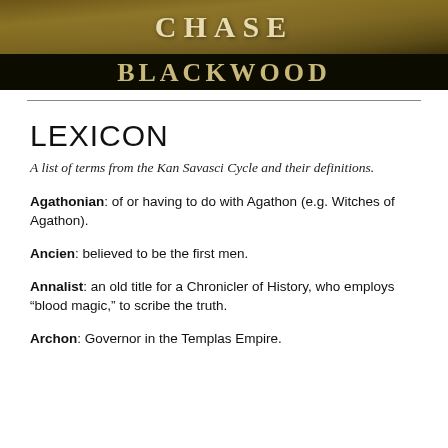[Figure (illustration): Book cover partial showing author name CHASE BLACKWOOD on a dark golden textured background]
LEXICON
A list of terms from the Kan Savasci Cycle and their definitions.
Agathonian: of or having to do with Agathon (e.g. Witches of Agathon).
Ancien: believed to be the first men.
Annalist: an old title for a Chronicler of History, who employs “blood magic,” to scribe the truth.
Archon: Governor in the Templas Empire.